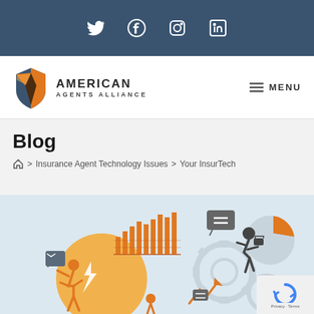Social media icons: Twitter, Facebook, Instagram, LinkedIn
[Figure (logo): American Agents Alliance logo with shield icon and text AMERICAN AGENTS ALLIANCE]
≡ MENU
Blog
🏠 > Insurance Agent Technology Issues > Your InsurTech
[Figure (illustration): Illustration showing business person with analytics charts, gears, pie chart, and running figure representing InsurTech]